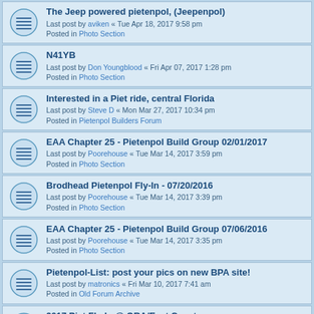The Jeep powered pietenpol, (Jeepenpol)
Last post by aviken « Tue Apr 18, 2017 9:58 pm
Posted in Photo Section
N41YB
Last post by Don Youngblood « Fri Apr 07, 2017 1:28 pm
Posted in Photo Section
Interested in a Piet ride, central Florida
Last post by Steve D « Mon Mar 27, 2017 10:34 pm
Posted in Pietenpol Builders Forum
EAA Chapter 25 - Pietenpol Build Group 02/01/2017
Last post by Poorehouse « Tue Mar 14, 2017 3:59 pm
Posted in Photo Section
Brodhead Pietenpol Fly-In - 07/20/2016
Last post by Poorehouse « Tue Mar 14, 2017 3:39 pm
Posted in Photo Section
EAA Chapter 25 - Pietenpol Build Group 07/06/2016
Last post by Poorehouse « Tue Mar 14, 2017 3:35 pm
Posted in Photo Section
Pietenpol-List: post your pics on new BPA site!
Last post by matronics « Fri Mar 10, 2017 7:41 am
Posted in Old Forum Archive
2017 Piet Fly-In @ ORA/East Coast
Last post by Clay Hammond « Thu Mar 09, 2017 8:49 am
Posted in Pietenpol Builders Forum
Early Brodhead Pietenpol Fly-In